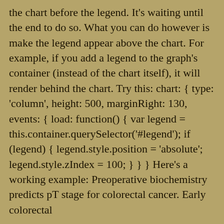the chart before the legend. It's waiting until the end to do so. What you can do however is make the legend appear above the chart. For example, if you add a legend to the graph's container (instead of the chart itself), it will render behind the chart. Try this: chart: { type: 'column', height: 500, marginRight: 130, events: { load: function() { var legend = this.container.querySelector('#legend'); if (legend) { legend.style.position = 'absolute'; legend.style.zIndex = 100; } } } Here's a working example: Preoperative biochemistry predicts pT stage for colorectal cancer. Early colorectal
FrameForge Previz Studio (formerly FrameForge Studio) is a complete 3D